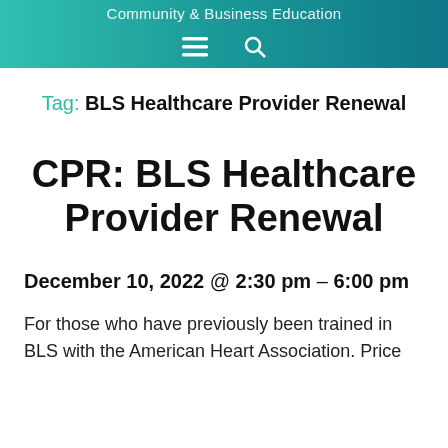Community & Business Education
Tag: BLS Healthcare Provider Renewal
CPR: BLS Healthcare Provider Renewal
December 10, 2022 @ 2:30 pm - 6:00 pm
For those who have previously been trained in BLS with the American Heart Association. Price